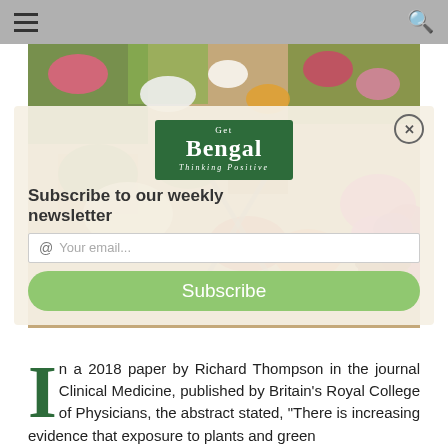Navigation bar with hamburger menu and search icon
[Figure (photo): Flower market/garden center photo with colorful potted flowers and plants]
[Figure (other): Subscribe popup overlay with Get Bengal logo (Thinking Positive tagline), subscribe to our weekly newsletter heading, email input field, and Subscribe button]
In a 2018 paper by Richard Thompson in the journal Clinical Medicine, published by Britain's Royal College of Physicians, the abstract stated, “There is increasing evidence that exposure to plants and green